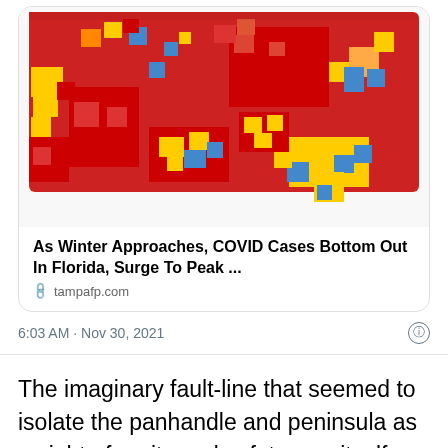[Figure (map): US county-level COVID case rate map showing mostly red (high) across the northern and central US, with yellow and blue (lower) areas in parts of Florida, the Gulf Coast, and scattered western counties.]
As Winter Approaches, COVID Cases Bottom Out In Florida, Surge To Peak ...
tampafp.com
6:03 AM · Nov 30, 2021
The imaginary fault-line that seemed to isolate the panhandle and peninsula as a sight of purity and safety was itself a creation of the lag in the reporting of state data, rather than